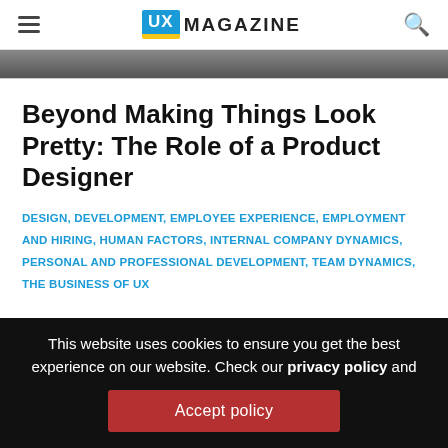UX MAGAZINE
[Figure (photo): Partial hero image strip at top of article page, cropped]
Beyond Making Things Look Pretty: The Role of a Product Designer
DESIGN, DEVELOPMENT, EMPLOYEE EXPERIENCE, EMPLOYMENT AND HIRING, HUMAN FACTORS, INTERNAL COMPANY DYNAMICS, PERSONAL AND PROFESSIONAL DEVELOPMENT, TEAM DYNAMICS, THE BUSINESS OF UX
This website uses cookies to ensure you get the best experience on our website. Check our privacy policy and
Accept policy